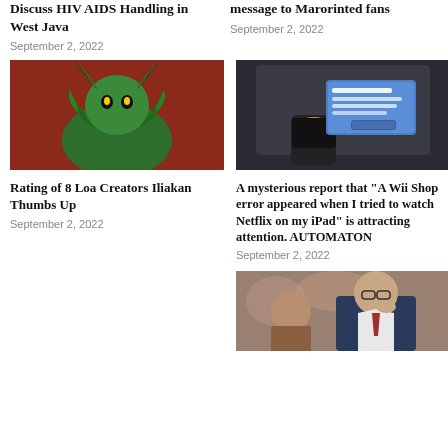Discuss HIV AIDS Handling in West Java
September 2, 2022
message to Marorinted fans
September 2, 2022
[Figure (photo): Fantasy green horned demon creature figurine against red background]
Rating of 8 Loa Creators Iliakan Thumbs Up
September 2, 2022
[Figure (photo): Hand holding phone near tablet showing a blue error popup message]
A mysterious report that “A Wii Shop error appeared when I tried to watch Netflix on my iPad” is attracting attention. AUTOMATON
September 2, 2022
[Figure (photo): Man in suit looking sideways at event or press conference]